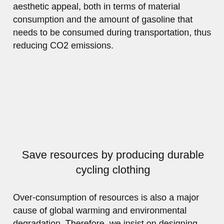aesthetic appeal, both in terms of material consumption and the amount of gasoline that needs to be consumed during transportation, thus reducing CO2 emissions.
Save resources by producing durable cycling clothing
Over-consumption of resources is also a major cause of global warming and environmental degradation. Therefore, we insist on designing and producing comfortable and durable cycling clothing,